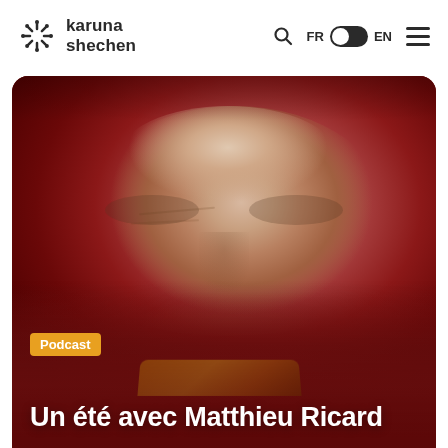karuna shechen — FR EN navigation
[Figure (photo): Close-up portrait of Matthieu Ricard, a bald elderly monk smiling gently, wearing a red and saffron Buddhist robe against a red background. Overlaid with a yellow 'Podcast' badge and white title text 'Un été avec Matthieu Ricard'.]
Podcast
Un été avec Matthieu Ricard